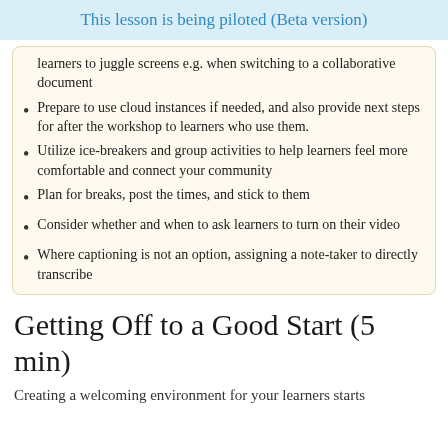This lesson is being piloted (Beta version)
learners to juggle screens e.g. when switching to a collaborative document
Prepare to use cloud instances if needed, and also provide next steps for after the workshop to learners who use them.
Utilize ice-breakers and group activities to help learners feel more comfortable and connect your community
Plan for breaks, post the times, and stick to them
Consider whether and when to ask learners to turn on their video
Where captioning is not an option, assigning a note-taker to directly transcribe
Getting Off to a Good Start (5 min)
Creating a welcoming environment for your learners starts